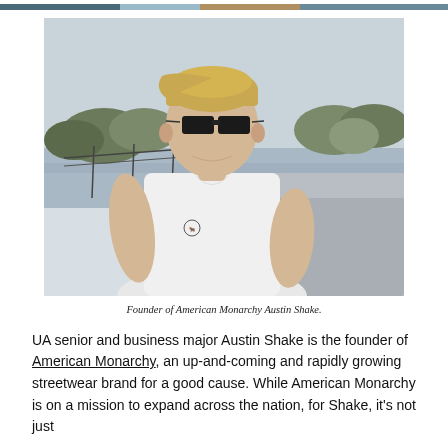[Figure (photo): Young man wearing sunglasses and white t-shirt with a small logo, sitting at an outdoor skate park near a body of water with trees in the background. Overcast sky.]
Founder of American Monarchy Austin Shake.
UA senior and business major Austin Shake is the founder of American Monarchy, an up-and-coming and rapidly growing streetwear brand for a good cause. While American Monarchy is on a mission to expand across the nation, for Shake, it's not just